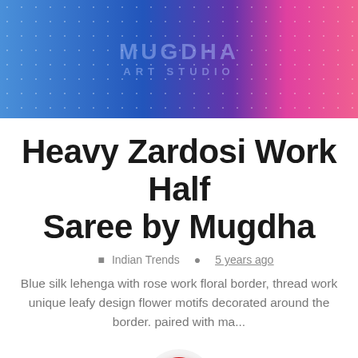[Figure (photo): Blue and pink Indian saree/lehenga garment with Mugdha Art Studio watermark overlay and dot pattern]
Heavy Zardosi Work Half Saree by Mugdha
Indian Trends  5 years ago
Blue silk lehenga with rose work floral border, thread work unique leafy design flower motifs decorated around the border. paired with ma...
[Figure (other): Red circular arrow/next button]